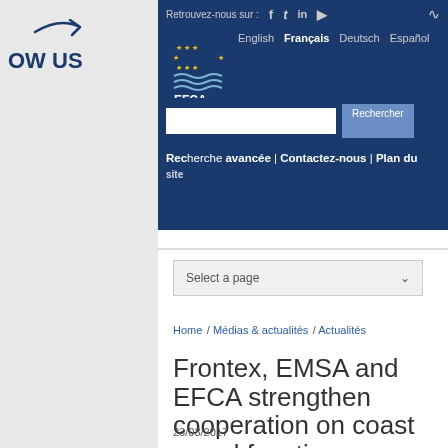[Figure (screenshot): Left sidebar with arrow icon and 'OW US' follow text in dark blue on grey background]
[Figure (screenshot): EFCA website header with social media icons, language selector (English, Français, Deutsch, Español), EFCA logo, search bar with Rechercher button, and navigation links (Recherche avancée | Contactez-nous | Plan du site)]
[Figure (screenshot): Page selector dropdown showing 'Select a page' with chevron arrow]
Home / Médias & actualités / Actualités
Frontex, EMSA and EFCA strengthen cooperation on coast guard functions
23/03/2017